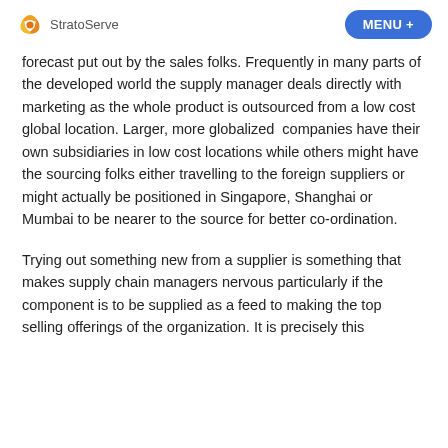StratoServe | MENU +
forecast put out by the sales folks. Frequently in many parts of the developed world the supply manager deals directly with marketing as the whole product is outsourced from a low cost global location. Larger, more globalized companies have their own subsidiaries in low cost locations while others might have the sourcing folks either travelling to the foreign suppliers or might actually be positioned in Singapore, Shanghai or Mumbai to be nearer to the source for better co-ordination.
Trying out something new from a supplier is something that makes supply chain managers nervous particularly if the component is to be supplied as a feed to making the top selling offerings of the organization. It is precisely this